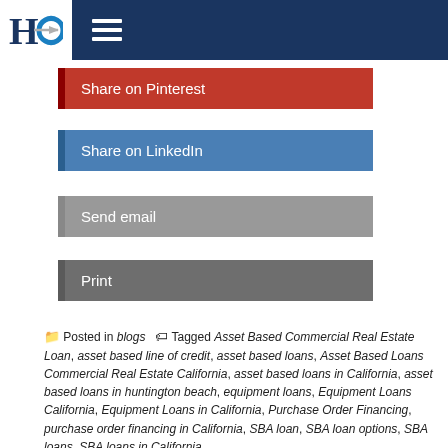HC [logo] — hamburger menu
Share on Pinterest
Share on LinkedIn
Send email
Print
Posted in blogs   Tagged Asset Based Commercial Real Estate Loan, asset based line of credit, asset based loans, Asset Based Loans Commercial Real Estate California, asset based loans in California, asset based loans in huntington beach, equipment loans, Equipment Loans California, Equipment Loans in California, Purchase Order Financing, purchase order financing in California, SBA loan, SBA loan options, SBA loans, SBA loans in California